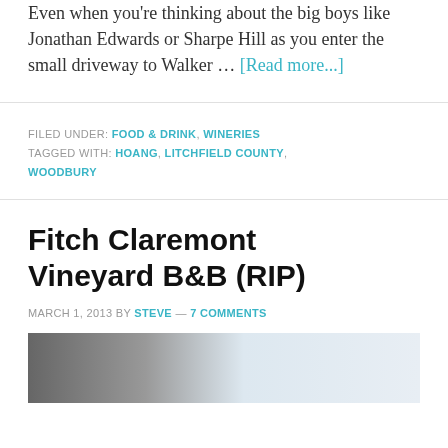Even when you're thinking about the big boys like Jonathan Edwards or Sharpe Hill as you enter the small driveway to Walker … [Read more...]
FILED UNDER: FOOD & DRINK, WINERIES
TAGGED WITH: HOANG, LITCHFIELD COUNTY, WOODBURY
Fitch Claremont Vineyard B&B (RIP)
MARCH 1, 2013 BY STEVE — 7 COMMENTS
[Figure (photo): Photo of Fitch Claremont Vineyard B&B, partially visible at bottom of page]